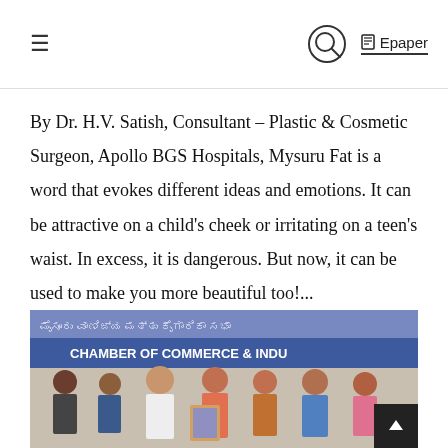≡  🔍  Epaper
By Dr. H.V. Satish, Consultant – Plastic & Cosmetic Surgeon, Apollo BGS Hospitals, Mysuru Fat is a word that evokes different ideas and emotions. It can be attractive on a child's cheek or irritating on a teen's waist. In excess, it is dangerous. But now, it can be used to make you more beautiful too!...
[Figure (photo): Group photo of several people standing in front of a banner reading 'CHAMBER OF COMMERCE & INDUSTRY'. One person is holding a framed picture/award. The group appears to be at a formal event or felicitation ceremony.]